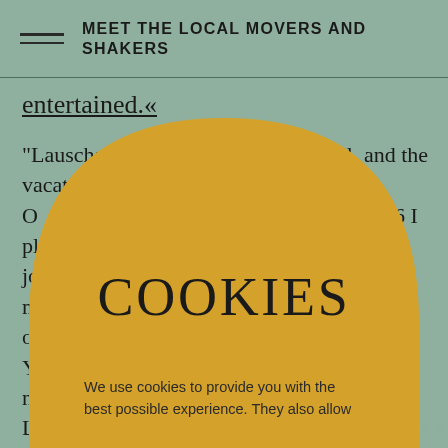MEET THE LOCAL MOVERS AND SHAKERS
entertained.«
“Lauscha was a health resort, after all, and the vacationers wanted to be entertained.” O… “So at 16 I played d… …my, I joined… …a mus… …d on… …al Y… o… n… L… …y p…
[Figure (other): Golden/amber colored arch-shaped cookie consent overlay dialog with 'COOKIES' title text and body text reading: 'We use cookies to provide you with the best possible experience. They also allow' (text cut off)]
We use cookies to provide you with the best possible experience. They also allow